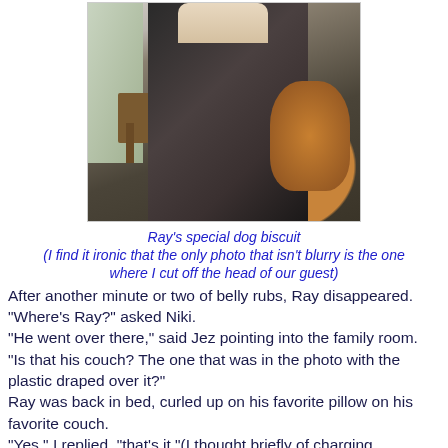[Figure (photo): A person in a dark fur coat or sweater holding something above a dog (appears to be a golden/brown dog looking up), photographed indoors with a rug and table visible in the background. The top of the person's head is cut off.]
Ray's special dog biscuit
(I find it ironic that the only photo that isn't blurry is the one where I cut off the head of our guest)
After another minute or two of belly rubs, Ray disappeared. "Where's Ray?" asked Niki.
"He went over there," said Jez pointing into the family room.
"Is that his couch? The one that was in the photo with the plastic draped over it?"
Ray was back in bed, curled up on his favorite pillow on his favorite couch.
"Yes," I replied, "that's it."(I thought briefly of charging admission for a tour of Ray's favorite sites - "Over here we have Ray's favorite couch. And out here is where he buries